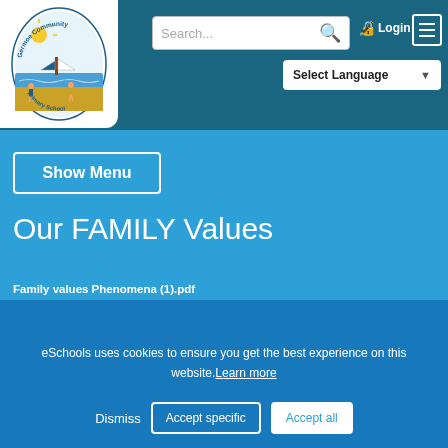[Figure (logo): Germoe Community Primary School circular badge logo with sun, sailboat, beach and children scene]
Search... Login Select Language
Show Menu
Our FAMILY Values
Family values Phenomena (1).pdf
This browser does not support inline PDFs. Please download the PDF to view it: Download PDF
eSchools uses cookies to ensure you get the best experience on this website. Learn more
Dismiss  Accept specific  Accept all